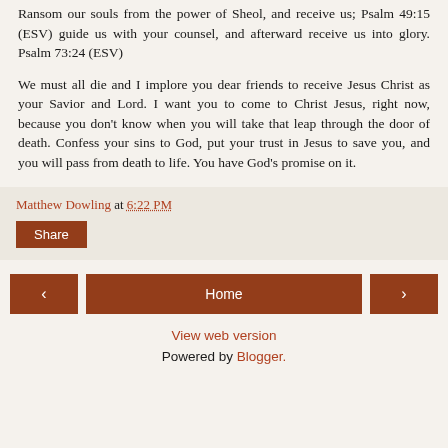Ransom our souls from the power of Sheol, and receive us; Psalm 49:15 (ESV) guide us with your counsel, and afterward receive us into glory. Psalm 73:24 (ESV)
We must all die and I implore you dear friends to receive Jesus Christ as your Savior and Lord. I want you to come to Christ Jesus, right now, because you don’t know when you will take that leap through the door of death. Confess your sins to God, put your trust in Jesus to save you, and you will pass from death to life. You have God’s promise on it.
Matthew Dowling at 6:22 PM
Share
Home
View web version
Powered by Blogger.